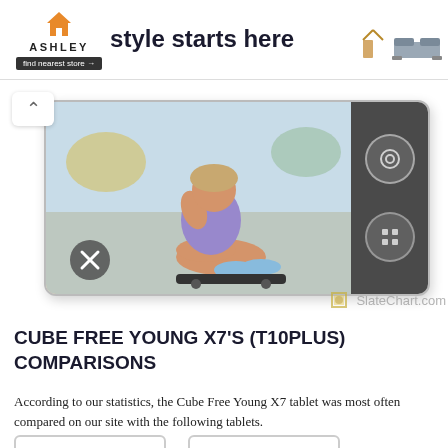[Figure (screenshot): Ashley Furniture advertisement banner with house icon, ASHLEY logo, 'style starts here' slogan, 'find nearest store →' button, and furniture images]
[Figure (screenshot): Screenshot of a tablet device showing a girl sitting on a skateboard in a purple outfit and blue sneakers, with dark sidebar containing circle and grid buttons, close button overlay, and a back arrow navigation element]
CUBE FREE YOUNG X7'S (T10PLUS) COMPARISONS
According to our statistics, the Cube Free Young X7 tablet was most often compared on our site with the following tablets.